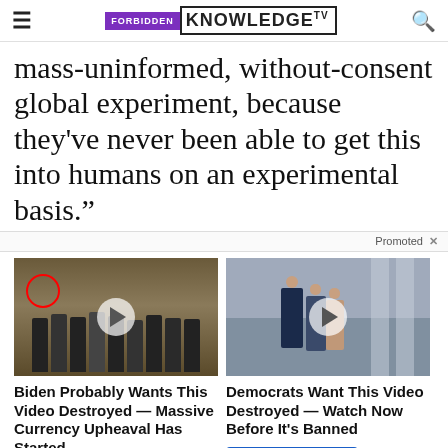FORBIDDEN KNOWLEDGE TV
mass-uninformed, without-consent global experiment, because they've never been able to get this into humans on an experimental basis.”
Promoted ×
[Figure (screenshot): Thumbnail of group of people standing in front of CIA seal, with red circle highlighting one person and a play button overlay]
Biden Probably Wants This Video Destroyed — Massive Currency Upheaval Has Started
Watch The Video
[Figure (screenshot): Thumbnail of people walking in a hallway with play button overlay]
Democrats Want This Video Destroyed — Watch Now Before It’s Banned
Watch The Video